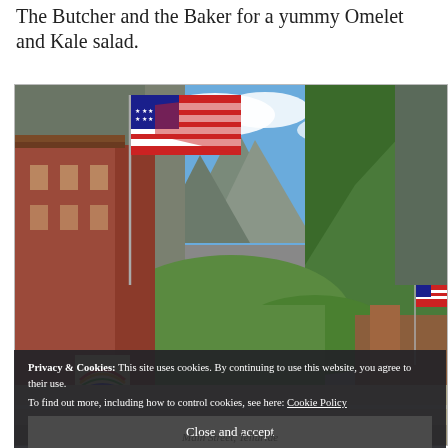The Butcher and the Baker for a yummy Omelet and Kale salad.
[Figure (photo): Street view of Main Street in Telluride, Colorado, showing brick buildings with an American flag on the left and dramatic mountain scenery with green forested slopes in the background under a blue sky with clouds.]
Privacy & Cookies: This site uses cookies. By continuing to use this website, you agree to their use. To find out more, including how to control cookies, see here: Cookie Policy
Main Street, Telluride